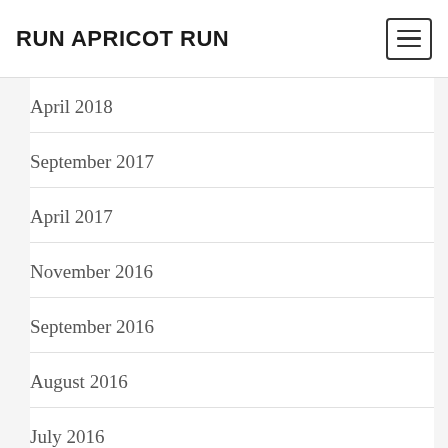RUN APRICOT RUN
April 2018
September 2017
April 2017
November 2016
September 2016
August 2016
July 2016
June 2016
May 2016
April 2016